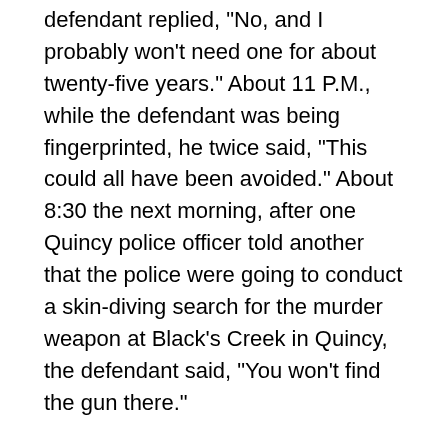defendant replied, "No, and I probably won't need one for about twenty-five years." About 11 P.M., while the defendant was being fingerprinted, he twice said, "This could all have been avoided." About 8:30 the next morning, after one Quincy police officer told another that the police were going to conduct a skin-diving search for the murder weapon at Black's Creek in Quincy, the defendant said, "You won't find the gun there."
The judge admitted, over the defendant's objections, a great deal of testimony from witnesses as to statements Graziano had made to them in the months and days preceding her death. The judge instructed the jury, however, that they were to consider testimony as to statements Graziano had made only as evidence of her